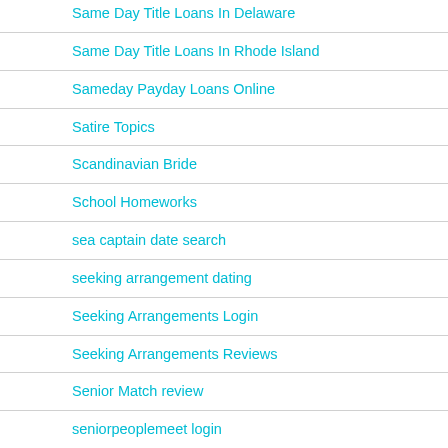Same Day Title Loans In Delaware
Same Day Title Loans In Rhode Island
Sameday Payday Loans Online
Satire Topics
Scandinavian Bride
School Homeworks
sea captain date search
seeking arrangement dating
Seeking Arrangements Login
Seeking Arrangements Reviews
Senior Match review
seniorpeoplemeet login
seniorpeoplemeet review